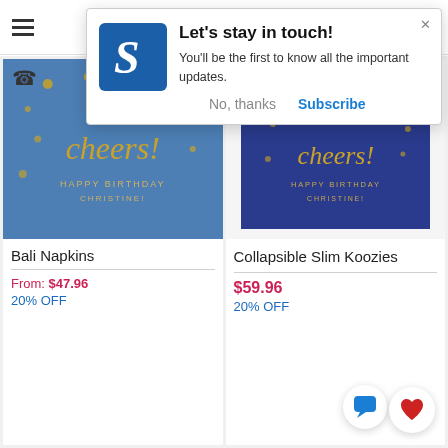[Figure (screenshot): Navigation bar with hamburger menu icon at top]
[Figure (screenshot): Modal popup: Let's stay in touch! with blue S logo, body text, No thanks and Subscribe buttons]
Let's stay in touch!
You'll be the first to know all the important updates.
No, thanks
Subscribe
[Figure (photo): Bali Napkins product image - blue textured card with cheers! Happy Birthday Christine in gold script]
Bali Napkins
From: $47.96
20% OFF
[Figure (photo): Collapsible Slim Koozies product image - dark navy blue card with cheers! Happy Birthday Christine in gold script]
Collapsible Slim Koozies
$59.96
20% OFF